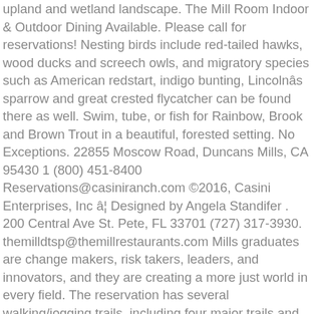upland and wetland landscape. The Mill Room Indoor & Outdoor Dining Available. Please call for reservations! Nesting birds include red-tailed hawks, wood ducks and screech owls, and migratory species such as American redstart, indigo bunting, Lincolnâs sparrow and great crested flycatcher can be found there as well. Swim, tube, or fish for Rainbow, Brook and Brown Trout in a beautiful, forested setting. No Exceptions. 22855 Moscow Road, Duncans Mills, CA 95430 1 (800) 451-8400 Reservations@casiniranch.com ©2016, Casini Enterprises, Inc â¦ Designed by Angela Standifer . 200 Central Ave St. Pete, FL 33701 (727) 317-3930. themilldtsp@themillrestaurants.com Mills graduates are change makers, risk takers, leaders, and innovators, and they are creating a more just world in every field. The reservation has several walking/jogging trails, including four major trails and numerous smaller trails. Montana has one of the country's lowest coronavirus infection rates, and is reopening to tourists. 931-268-0045. campground open year round!!! The U.S. Army Corps of Engineers, Fort Worth District welcomes you to Navarro Mills Lake, located in